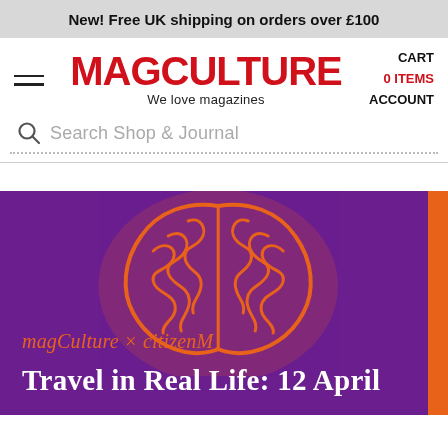New! Free UK shipping on orders over £100
[Figure (logo): MagCulture logo in bold red text with tagline 'We love magazines']
CART
0 ITEMS
ACCOUNT
Search Shop & Journal
[Figure (illustration): Promotional banner with purple background, orange brain illustration, text 'magCulture × citizenM' and 'Travel in Real Life: 12 April']